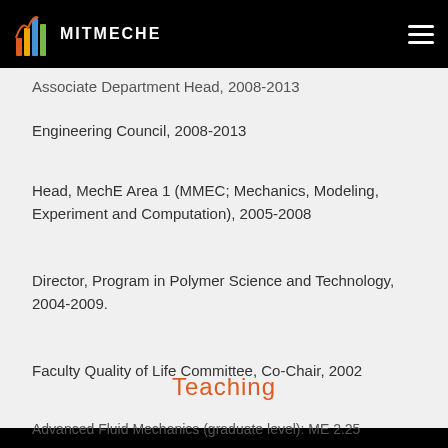MITMECHE
Associate Department Head, 2008-2013
Engineering Council, 2008-2013
Head, MechE Area 1 (MMEC; Mechanics, Modeling, Experiment and Computation), 2005-2008
Director, Program in Polymer Science and Technology, 2004-2009.
Faculty Quality of Life Committee, Co-Chair, 2002
Teaching
Advanced Fluid Mechanics (graduate level): ME 2.25